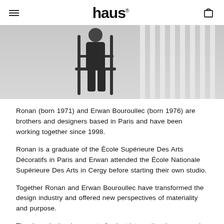haus
[Figure (photo): A person in dark clothing sitting on or near a black metal chair/stool structure, with white vertical bars or slats visible in the background, in a minimalist studio setting.]
Ronan (born 1971) and Erwan Bouroullec (born 1976) are brothers and designers based in Paris and have been working together since 1998.
Ronan is a graduate of the École Supérieure Des Arts Décoratifs in Paris and Erwan attended the École Nationale Supérieure Des Arts in Cergy before starting their own studio.
Together Ronan and Erwan Bouroullec have transformed the design industry and offered new perspectives of materiality and purpose.
The duos designs' are part of select international museums' permanent collections such as the Musée